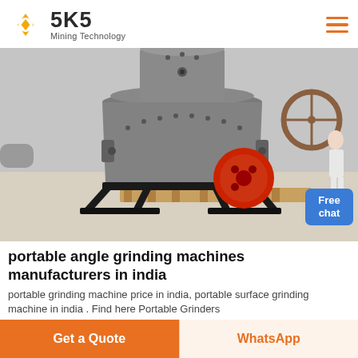[Figure (logo): SKS Mining Technology logo with circular red/blue/yellow emblem and text]
[Figure (photo): Industrial portable angle grinding machine on a black metal stand with a red wheel/flywheel, shown in a workshop setting]
portable angle grinding machines manufacturers in india
portable grinding machine price in india, portable surface grinding machine in india . Find here Portable Grinders
Get a Quote
WhatsApp